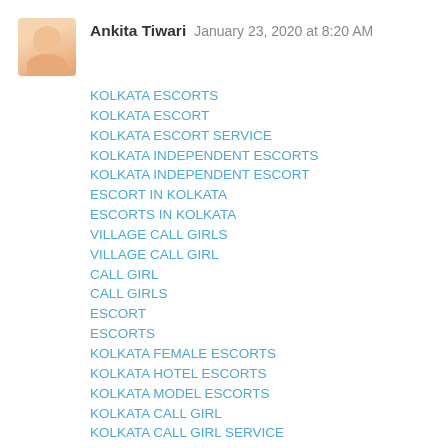Ankita Tiwari  January 23, 2020 at 8:20 AM
KOLKATA ESCORTS
KOLKATA ESCORT
KOLKATA ESCORT SERVICE
KOLKATA INDEPENDENT ESCORTS
KOLKATA INDEPENDENT ESCORT
ESCORT IN KOLKATA
ESCORTS IN KOLKATA
VILLAGE CALL GIRLS
VILLAGE CALL GIRL
CALL GIRL
CALL GIRLS
ESCORT
ESCORTS
KOLKATA FEMALE ESCORTS
KOLKATA HOTEL ESCORTS
KOLKATA MODEL ESCORTS
KOLKATA CALL GIRL
KOLKATA CALL GIRL SERVICE
KOLKATA CALL GIRL SERVICE
KOLKATA CALL GIRLS